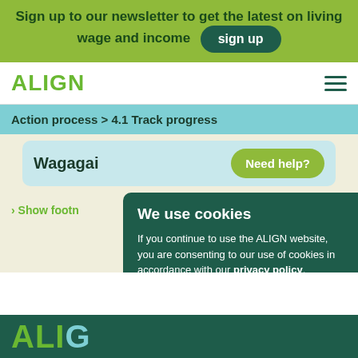Sign up to our newsletter to get the latest on living wage and income  sign up
ALIGN
Action process > 4.1 Track progress
Wagagai
Need help?
> Show footn…
We use cookies
If you continue to use the ALIGN website, you are consenting to our use of cookies in accordance with our privacy policy.
accept
ALIG